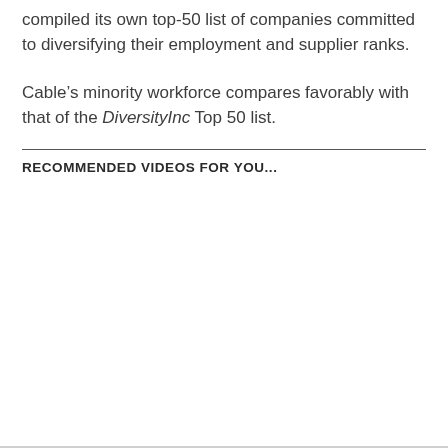compiled its own top-50 list of companies committed to diversifying their employment and supplier ranks.
Cable's minority workforce compares favorably with that of the DiversityInc Top 50 list.
RECOMMENDED VIDEOS FOR YOU...